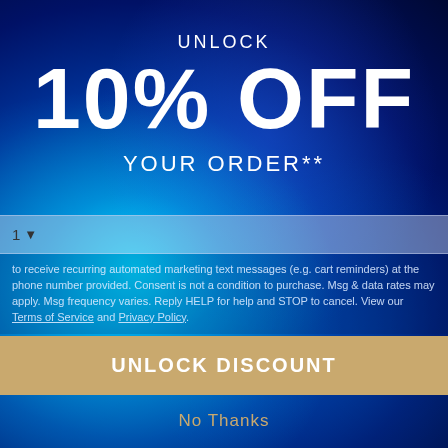UNLOCK
10% OFF
YOUR ORDER**
1
to receive recurring automated marketing text messages (e.g. cart reminders) at the phone number provided. Consent is not a condition to purchase. Msg & data rates may apply. Msg frequency varies. Reply HELP for help and STOP to cancel. View our Terms of Service and Privacy Policy.
UNLOCK DISCOUNT
No Thanks